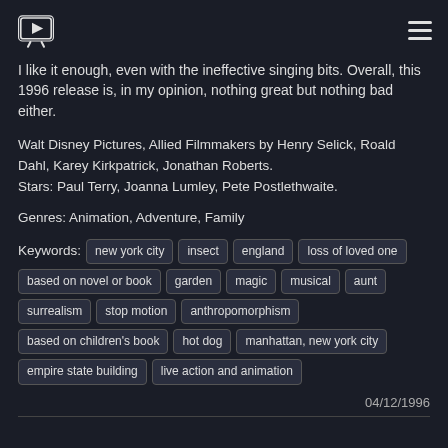[TV icon] [hamburger menu]
I like it enough, even with the ineffective singing bits. Overall, this 1996 release is, in my opinion, nothing great but nothing bad either.
Walt Disney Pictures, Allied Filmmakers by Henry Selick, Roald Dahl, Karey Kirkpatrick, Jonathan Roberts.
Stars: Paul Terry, Joanna Lumley, Pete Postlethwaite.
Genres: Animation, Adventure, Family
Keywords: new york city  insect  england  loss of loved one  based on novel or book  garden  magic  musical  aunt  surrealism  stop motion  anthropomorphism  based on children's book  hot dog  manhattan, new york city  empire state building  live action and animation
04/12/1996